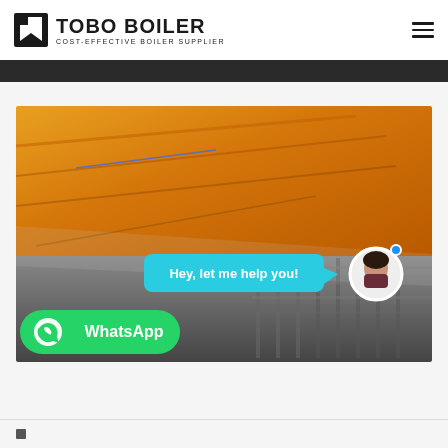TOBO BOILER — COST-EFFECTIVE BOILER SUPPLIER
[Figure (photo): Industrial boiler/furnace interior showing orange/amber heated metal surfaces at top and grey industrial equipment at bottom. Chat interface overlay showing 'Hey, let me help you!' speech bubble with cyan background and female assistant avatar with blue online dot. WhatsApp button with green background and WhatsApp logo icon labeled 'WhatsApp'.]